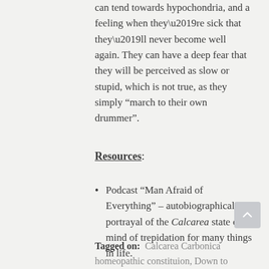can tend towards hypochondria, and a feeling when they’re sick that they’ll never become well again. They can have a deep fear that they will be perceived as slow or stupid, which is not true, as they simply “march to their own drummer”.
Resources:
Podcast “Man Afraid of Everything” – autobiographical portrayal of the Calcarea state of mind of trepidation for many things in life.
Tagged on:   Calcarea Carbonica homeopathic constituion,  Down to